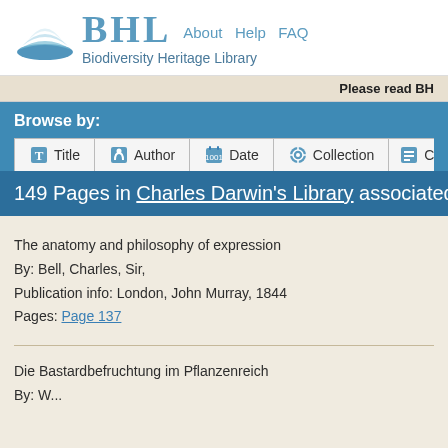[Figure (logo): BHL Biodiversity Heritage Library logo with open book icon and navigation links: About, Help, FAQ]
Please read BH
Browse by:
Title | Author | Date | Collection | Co...
149 Pages in Charles Darwin's Library associated with "pe
The anatomy and philosophy of expression
By: Bell, Charles, Sir,
Publication info: London, John Murray, 1844
Pages: Page 137
Die Bastardbefruchtung im Pflanzenreich
By: W...